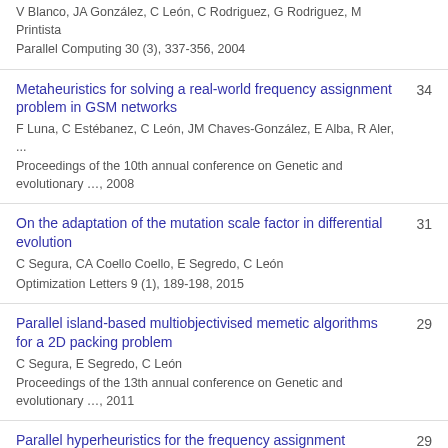V Blanco, JA González, C León, C Rodriguez, G Rodriguez, M Printista
Parallel Computing 30 (3), 337-356, 2004
Metaheuristics for solving a real-world frequency assignment problem in GSM networks
F Luna, C Estébanez, C León, JM Chaves-González, E Alba, R Aler, ...
Proceedings of the 10th annual conference on Genetic and evolutionary ..., 2008
34
On the adaptation of the mutation scale factor in differential evolution
C Segura, CA Coello Coello, E Segredo, C León
Optimization Letters 9 (1), 189-198, 2015
31
Parallel island-based multiobjectivised memetic algorithms for a 2D packing problem
C Segura, E Segredo, C León
Proceedings of the 13th annual conference on Genetic and evolutionary ..., 2011
29
Parallel hyperheuristics for the frequency assignment problem
29